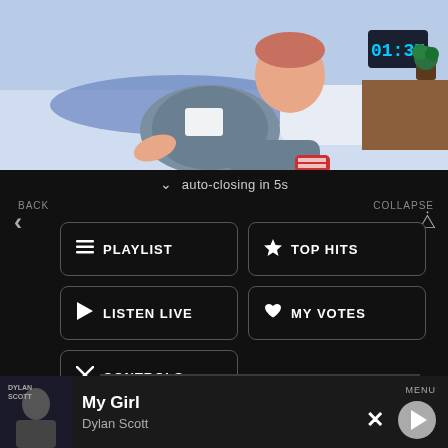[Figure (illustration): Cartoon illustration of a person lying in bed on a blue pillow, wearing a grey t-shirt, with a digital alarm clock showing 01:37 on a bedside table and a small plant nearby.]
auto-closing in 5s
BACK
COLLAPSE
PLAYLIST
TOP HITS
LISTEN LIVE
MY VOTES
CONTROLS
Data opt-out
My Girl
Dylan Scott
MENU